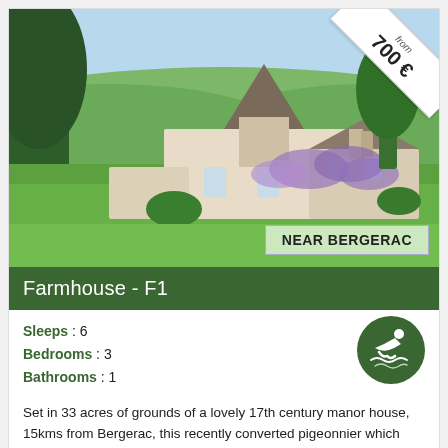[Figure (photo): Photo of a French farmhouse/pigeonnier with pointed roof covered in wisteria, surrounded by green lawns and trees, with rolling hills in background. Sky is light blue.]
from 700 €
NEAR BERGERAC
Farmhouse - F1
Sleeps : 6
Bedrooms : 3
Bathrooms : 1
[Figure (illustration): Green circular swimming icon with white swimmer figure]
Set in 33 acres of grounds of a lovely 17th century manor house, 15kms from Bergerac, this recently converted pigeonnier which sleeps a maximum of 6-8 people, has breathtaking views over woods and rolling hills. Approached by its own p ...